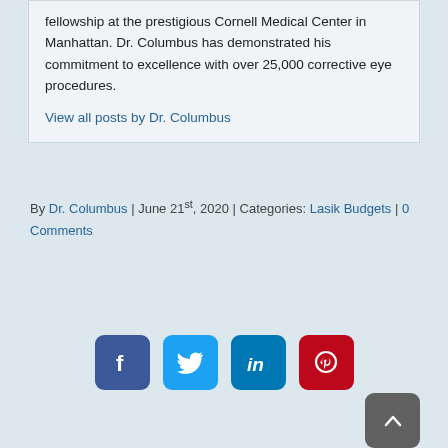fellowship at the prestigious Cornell Medical Center in Manhattan. Dr. Columbus has demonstrated his commitment to excellence with over 25,000 corrective eye procedures.
View all posts by Dr. Columbus
By Dr. Columbus | June 21st, 2020 | Categories: Lasik Budgets | 0 Comments
[Figure (infographic): Social media share icons: Facebook (blue), Twitter (light blue), LinkedIn (dark blue), Pinterest (red). A dark gray scroll-to-top button with an upward chevron in the bottom right.]